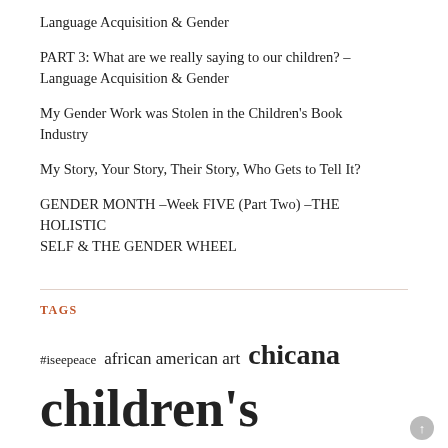Language Acquisition & Gender
PART 3: What are we really saying to our children? – Language Acquisition & Gender
My Gender Work was Stolen in the Children's Book Industry
My Story, Your Story, Their Story, Who Gets to Tell It?
GENDER MONTH –Week FIVE (Part Two) –THE HOLISTIC SELF & THE GENDER WHEEL
TAGS
#iseepeace african american art chicana children's books children's books as a radical act campaign claiming face creative